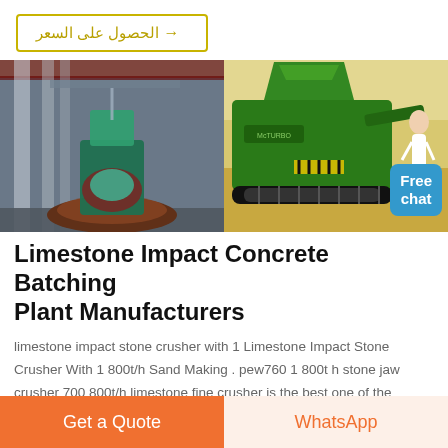→ الحصول على السعر
[Figure (photo): Two photos side by side: left shows industrial machinery in a factory with columns and a large circular grinding machine; right shows a green mobile crushing/batching plant on tracks outdoors on sandy ground, with a person standing nearby and a blue 'Free chat' badge overlay.]
Limestone Impact Concrete Batching Plant Manufacturers
limestone impact stone crusher with 1 Limestone Impact Stone Crusher With 1 800t/h Sand Making . pew760 1 800t h stone jaw crusher 700 800t/h limestone fine crusher is the best one of the crushing machine high efficient sand making machines. the.
Get a Quote
WhatsApp